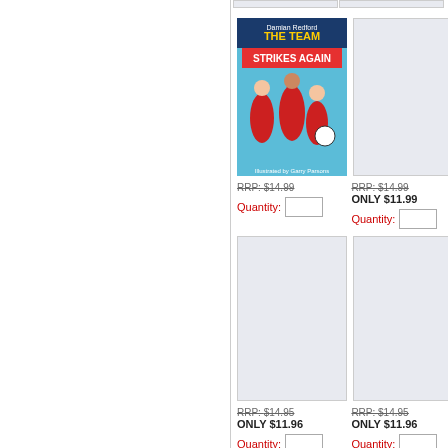[Figure (photo): Book cover: The Team Strikes Again by Damian Redford, illustrated children's book showing kids playing soccer/football, blue background]
RRP: $14.99
Quantity:
RRP: $14.99
ONLY $11.99
Quantity:
[Figure (photo): Book cover placeholder (light blue/grey rectangle)]
RRP: $14.95
ONLY $11.96
Quantity:
[Figure (photo): Book cover placeholder (light blue/grey rectangle)]
RRP: $14.95
ONLY $11.96
Quantity:
[Figure (photo): Book cover placeholder (light blue/grey rectangle, bottom row, partially cropped)]
[Figure (photo): Book cover placeholder (light blue/grey rectangle, bottom row, partially cropped)]